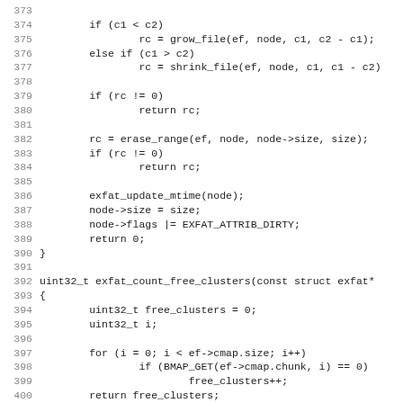Source code listing lines 373-405, showing C functions: exfat_count_free_clusters and find_used_clusters, with logic for grow_file, shrink_file, erase_range, and bitmap operations.